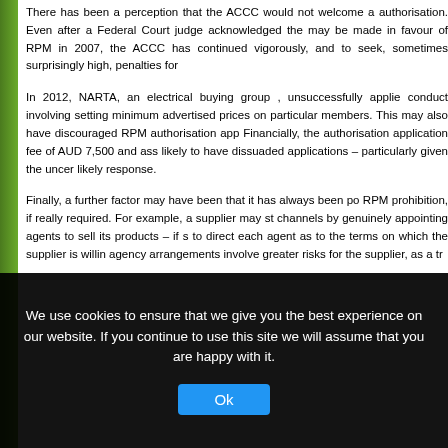There has been a perception that the ACCC would not welcome a authorisation. Even after a Federal Court judge acknowledged the may be made in favour of RPM in 2007, the ACCC has continued vigorously, and to seek, sometimes surprisingly high, penalties for
In 2012, NARTA, an electrical buying group , unsuccessfully applie conduct involving setting minimum advertised prices on particular members. This may also have discouraged RPM authorisation app Financially, the authorisation application fee of AUD 7,500 and ass likely to have dissuaded applications – particularly given the uncer likely response.
Finally, a further factor may have been that it has always been po RPM prohibition, if really required. For example, a supplier may st channels by genuinely appointing agents to sell its products – if s to direct each agent as to the terms on which the supplier is willin agency arrangements involve greater risks for the supplier, as a tr
What Test Does The ACCC Apply?
The ACCC can authorise RPM conduct if it is satisfied that the co likely to result, in such a benefit to the public that it should be allo
We use cookies to ensure that we give you the best experience on our website. If you continue to use this site we will assume that you are happy with it.